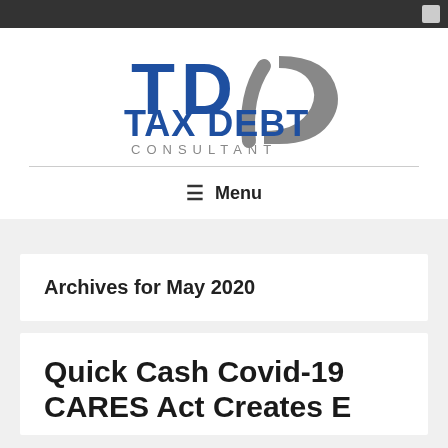TDC TAX DEBT CONSULTANT
[Figure (logo): TDC Tax Debt Consultant logo with blue and gray lettering]
≡ Menu
Archives for May 2020
Quick Cash Covid-19 CARES Act Creates E...